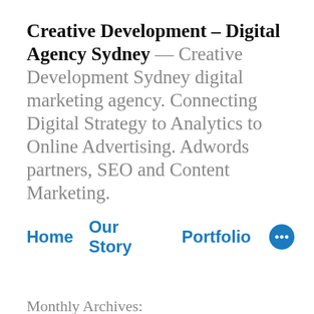Creative Development – Digital Agency Sydney — Creative Development Sydney digital marketing agency. Connecting Digital Strategy to Analytics to Online Advertising. Adwords partners, SEO and Content Marketing.
Home  Our Story  Portfolio  ···
Monthly Archives:
July 2011